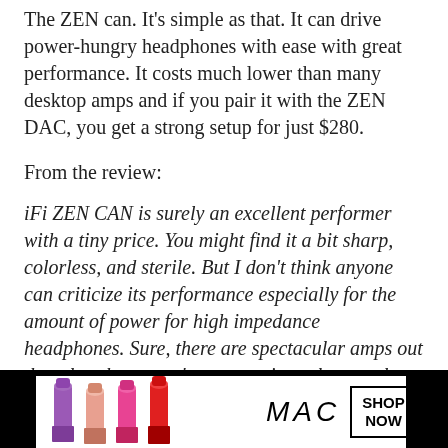The ZEN can. It's simple as that. It can drive power-hungry headphones with ease with great performance. It costs much lower than many desktop amps and if you pair it with the ZEN DAC, you get a strong setup for just $280.
From the review:
iFi ZEN CAN is surely an excellent performer with a tiny price. You might find it a bit sharp, colorless, and sterile. But I don't think anyone can criticize its performance especially for the amount of power for high impedance headphones. Sure, there are spectacular amps out there but there aren't many options cheaper than this. The only thing that comes to my mind is the JDS Atom amp, which doesn't have this build quality, power, [se
[Figure (other): MAC cosmetics advertisement banner with lipsticks in purple, pink, and red colors, MAC italic logo, SHOP NOW button, and CLOSE button overlay]